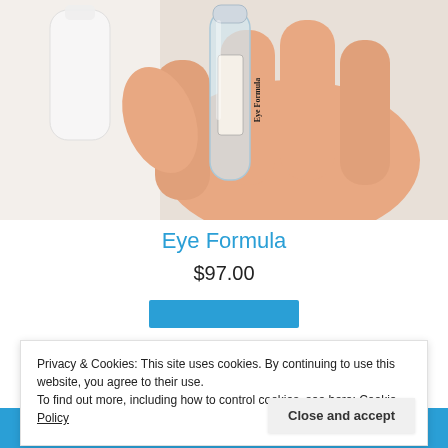[Figure (photo): A hand holding a small clear glass vial labeled 'Eye Formula' with black serif text on the label. A white bottle is visible in the blurred background.]
Eye Formula
$97.00
[Figure (other): Teal/blue 'Add to cart' button]
Privacy & Cookies: This site uses cookies. By continuing to use this website, you agree to their use. To find out more, including how to control cookies, see here: Cookie Policy
Close and accept